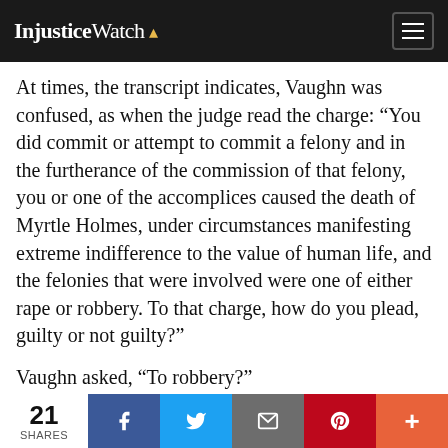InjusticeWatch
At times, the transcript indicates, Vaughn was confused, as when the judge read the charge: “You did commit or attempt to commit a felony and in the furtherance of the commission of that felony, you or one of the accomplices caused the death of Myrtle Holmes, under circumstances manifesting extreme indifference to the value of human life, and the felonies that were involved were one of either rape or robbery. To that charge, how do you plead, guilty or not guilty?”
Vaughn asked, “To robbery?”
“Not to robbery,” the judge replied. He repeated the full charge with different wording and Vaughn nodded, according to the transcript.
21 SHARES | Facebook | Twitter | Email | Pinterest | More